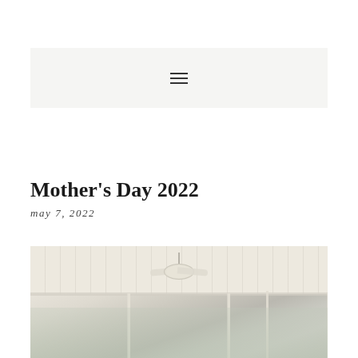≡
Mother's Day 2022
may 7, 2022
[Figure (photo): Interior photo of a bright sunroom or screened porch with white beadboard ceiling, ceiling fan, and large windows looking out to trees]